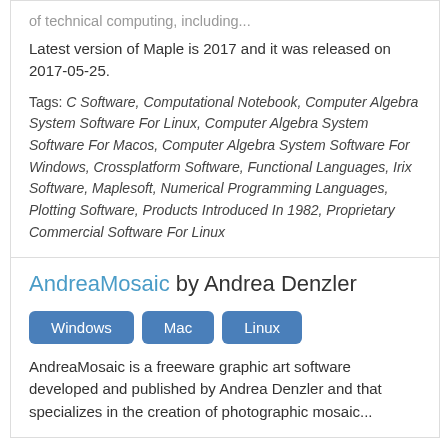of technical computing, including...
Latest version of Maple is 2017 and it was released on 2017-05-25.
Tags: C Software, Computational Notebook, Computer Algebra System Software For Linux, Computer Algebra System Software For Macos, Computer Algebra System Software For Windows, Crossplatform Software, Functional Languages, Irix Software, Maplesoft, Numerical Programming Languages, Plotting Software, Products Introduced In 1982, Proprietary Commercial Software For Linux
AndreaMosaic by Andrea Denzler
Windows
Mac
Linux
AndreaMosaic is a freeware graphic art software developed and published by Andrea Denzler and that specializes in the creation of photographic mosaic...